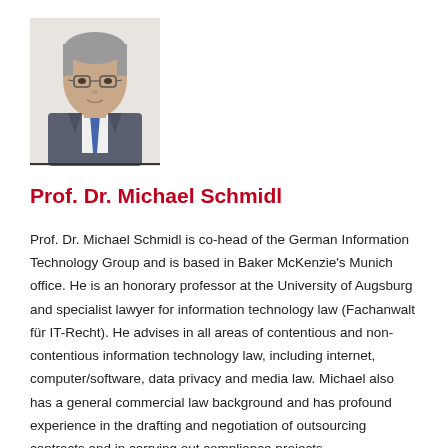[Figure (photo): Professional headshot of Prof. Dr. Michael Schmidl, a middle-aged man with grey-streaked hair and glasses, wearing a grey suit and blue tie, against a light background.]
Prof. Dr. Michael Schmidl
Prof. Dr. Michael Schmidl is co-head of the German Information Technology Group and is based in Baker McKenzie's Munich office. He is an honorary professor at the University of Augsburg and specialist lawyer for information technology law (Fachanwalt für IT-Recht). He advises in all areas of contentious and non-contentious information technology law, including internet, computer/software, data privacy and media law. Michael also has a general commercial law background and has profound experience in the drafting and negotiation of outsourcing contracts and in carrying out compliance projects.